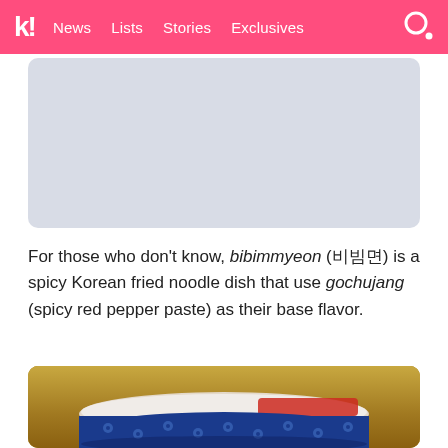k! News Lists Stories Exclusives
[Figure (photo): Light gray placeholder image with rounded corners, positioned below the navigation bar]
For those who don't know, bibimmyeon (비빔면) is a spicy Korean fried noodle dish that use gochujang (spicy red pepper paste) as their base flavor.
[Figure (photo): Photo of a blue Korean instant noodle cup/bowl with decorative floral pattern, shown from the side against a gold/brown background. The lid is partially visible at the top.]